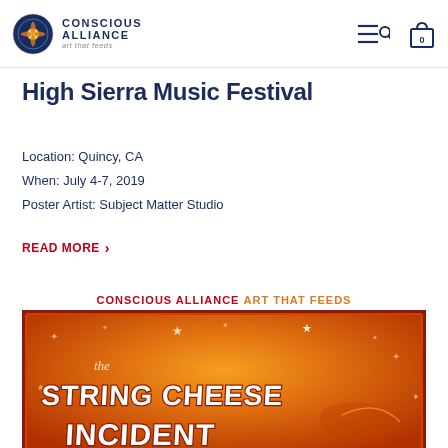Conscious Alliance — art that feeds (logo and nav icons)
High Sierra Music Festival
Location: Quincy, CA
When: July 4-7, 2019
Poster Artist: Subject Matter Studio
READ MORE >
[Figure (illustration): Concert poster for The String Cheese Incident at High Sierra Music Festival, orange and red tones with stars and swirling designs, text reads CONSCIOUS ALLIANCE ART THAT FEEDS at top, and THE STRING CHEESE INCIDENT in large stylized letters on orange background]